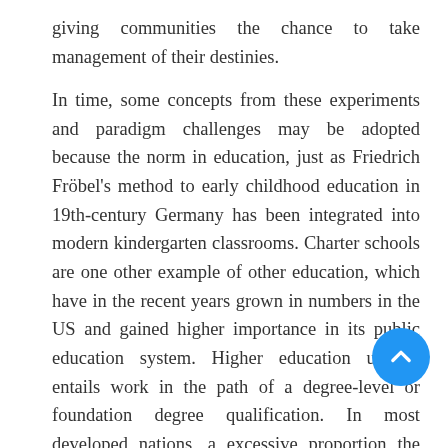giving communities the chance to take management of their destinies.
In time, some concepts from these experiments and paradigm challenges may be adopted because the norm in education, just as Friedrich Fröbel's method to early childhood education in 19th-century Germany has been integrated into modern kindergarten classrooms. Charter schools are one other example of other education, which have in the recent years grown in numbers in the US and gained higher importance in its public education system. Higher education usually entails work in the path of a degree-level or foundation degree qualification. In most developed nations, a excessive proportion the inhabitants (up 50{52ed31cef51dc17eb0a952f4343d488a6ca4be72ff300f649 now enter larger education at some time of their